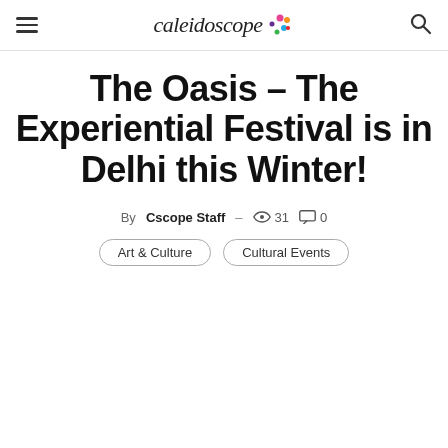Caleidoscope
The Oasis – The Experiential Festival is in Delhi this Winter!
By Cscope Staff – 31  0
Art & Culture
Cultural Events